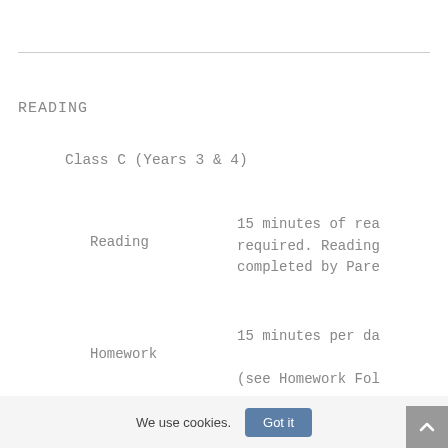READING
Class C (Years 3 & 4)
Reading
15 minutes of rea required. Reading completed by Pare
Homework
15 minutes per da
(see Homework Fol
Class D (Years 5 & 6)